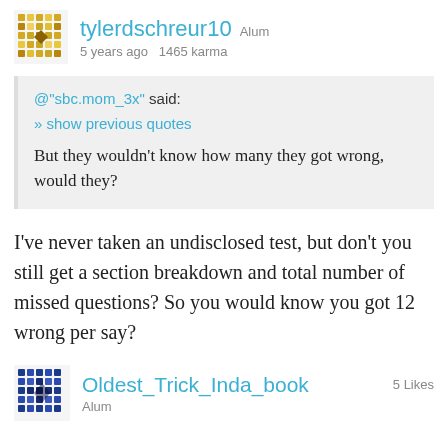tylerdschreur10 Alum
5 years ago  1465 karma
@"sbc.mom_3x" said:
» show previous quotes
But they wouldn't know how many they got wrong, would they?
I've never taken an undisclosed test, but don't you still get a section breakdown and total number of missed questions? So you would know you got 12 wrong per say?
Oldest_Trick_Inda_book  5 Likes
Alum